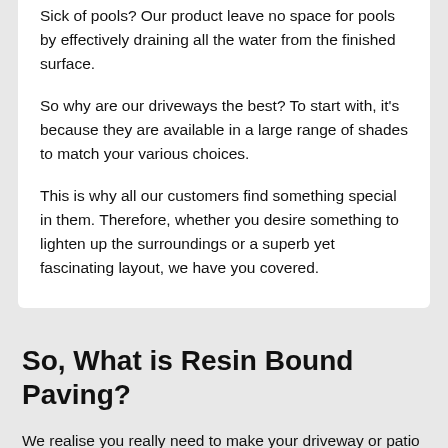Sick of pools? Our product leave no space for pools by effectively draining all the water from the finished surface.
So why are our driveways the best? To start with, it's because they are available in a large range of shades to match your various choices.
This is why all our customers find something special in them. Therefore, whether you desire something to lighten up the surroundings or a superb yet fascinating layout, we have you covered.
So, What is Resin Bound Paving?
We realise you really need to make your driveway or patio area look appealing. Therefore, to boost the appearance of your driveway, patio area or pathway- choose resin paving.